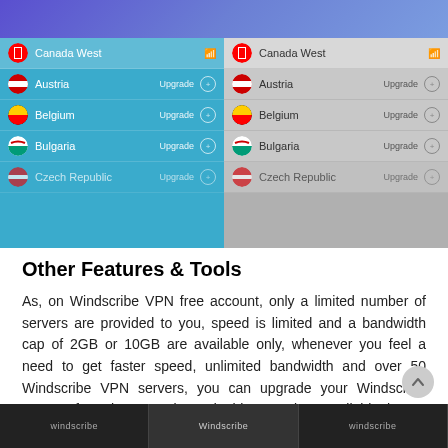[Figure (screenshot): Two mobile app screenshots side by side showing Windscribe VPN server list. Left screenshot has blue background showing: Canada West (with signal icon), Austria (Upgrade), Belgium (Upgrade), Bulgaria (Upgrade), Czech Republic (Upgrade). Right screenshot has gray background with same server list.]
Other Features & Tools
As, on Windscribe VPN free account, only a limited number of servers are provided to you, speed is limited and a bandwidth cap of 2GB or 10GB are available only, whenever you feel a need to get faster speed, unlimited bandwidth and over 50 Windscribe VPN servers, you can upgrade your Windscribe account from the app only. To do this, tap ≡ icon available the top left and it will reveal the option to Upgrade your Windscribe account along other important option to check your Account, get Help and Log Out.
[Figure (screenshot): Three small mobile browser screenshots at the bottom showing Windscribe website in browser tabs.]